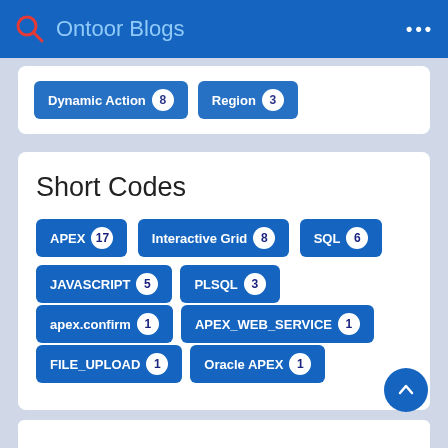Ontoor Blogs
Dynamic Action 8  Region 3
Short Codes
APEX 17
Interactive Grid 8
SQL 6
JAVASCRIPT 5
PLSQL 3
apex.confirm 1
APEX_WEB_SERVICE 1
FILE_UPLOAD 1
Oracle APEX 1